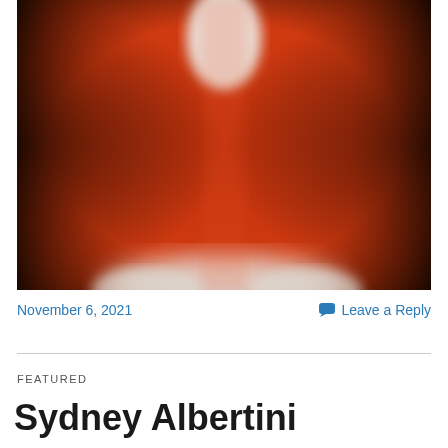[Figure (photo): Close-up blurred photograph of an orange/red cylindrical object (appears to be a pill bottle or canister) with a white cap visible at the top center, against a dark background. The bottom shows white blurred elements.]
November 6, 2021
Leave a Reply
FEATURED
Sydney Albertini